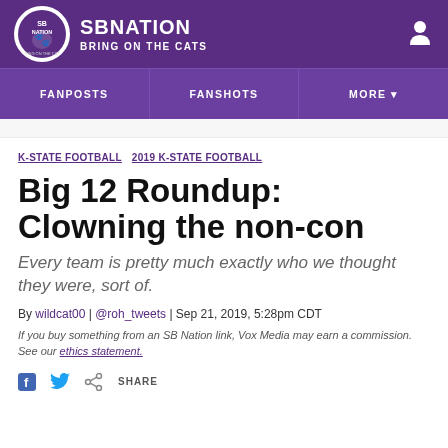SBNATION BRING ON THE CATS
FANPOSTS | FANSHOTS | MORE
K-STATE FOOTBALL 2019 K-STATE FOOTBALL
Big 12 Roundup: Clowning the non-con
Every team is pretty much exactly who we thought they were, sort of.
By wildcat00 | @roh_tweets | Sep 21, 2019, 5:28pm CDT
If you buy something from an SB Nation link, Vox Media may earn a commission. See our ethics statement.
SHARE